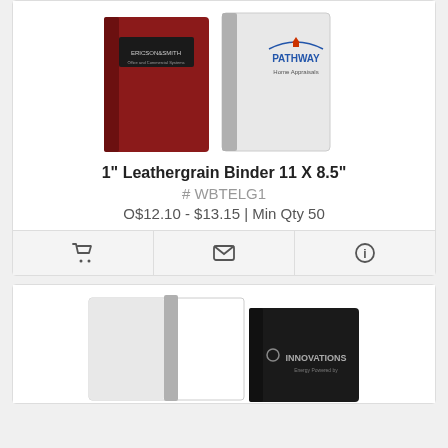[Figure (photo): Two leathergrain binders — one red with Ericson&Smith label, one white with Pathway Home Appraisals logo]
1" Leathergrain Binder 11 X 8.5"
# WBTELG1
O$12.10 - $13.15 | Min Qty 50
[Figure (photo): Open ring binder with white pages showing metal rings, next to a closed black binder with Innovations logo]